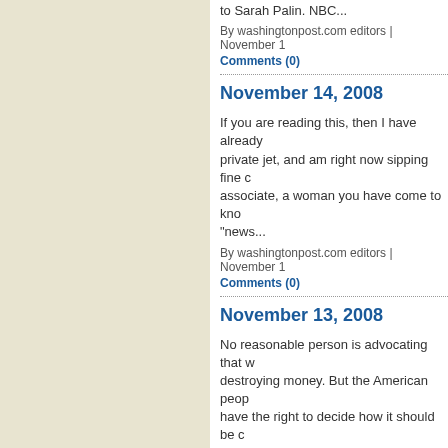to Sarah Palin. NBC...
By washingtonpost.com editors | November 1
Comments (0)
November 14, 2008
If you are reading this, then I have already private jet, and am right now sipping fine c associate, a woman you have come to kno "news...
By washingtonpost.com editors | November 1
Comments (0)
November 13, 2008
No reasonable person is advocating that w destroying money. But the American peop have the right to decide how it should be c experts" on In The Know: Should...
By washingtonpost.com editors | November 1
Comments (0)
November 12, 2008